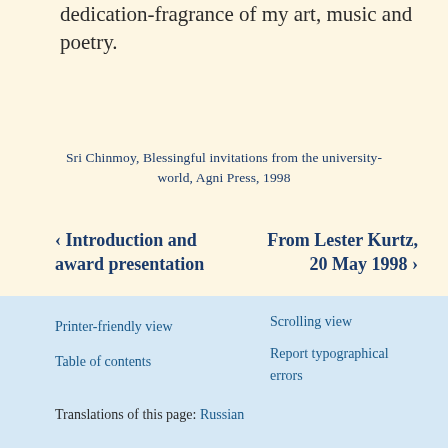dedication-fragrance of my art, music and poetry.
Sri Chinmoy, Blessingful invitations from the university-world, Agni Press, 1998
‹ Introduction and award presentation
From Lester Kurtz, 20 May 1998 ›
Printer-friendly view   Scrolling view   Table of contents   Report typographical errors   Translations of this page: Russian